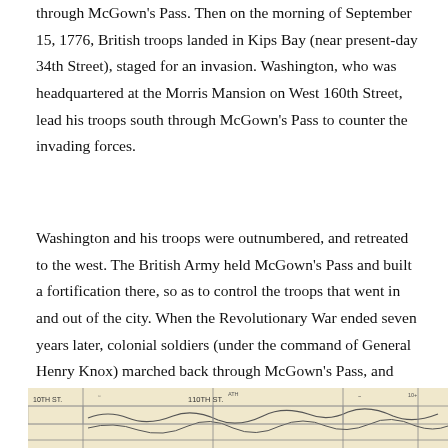through McGown's Pass. Then on the morning of September 15, 1776, British troops landed in Kips Bay (near present-day 34th Street), staged for an invasion. Washington, who was headquartered at the Morris Mansion on West 160th Street, lead his troops south through McGown's Pass to counter the invading forces.
Washington and his troops were outnumbered, and retreated to the west. The British Army held McGown's Pass and built a fortification there, so as to control the troops that went in and out of the city. When the Revolutionary War ended seven years later, colonial soldiers (under the command of General Henry Knox) marched back through McGown's Pass, and into Manhattan to liberate the city.
[Figure (map): A partial historical map showing street grid with labels including '10th St', '110th St', and other street markings. Black and white/sepia toned map with topographical elements.]